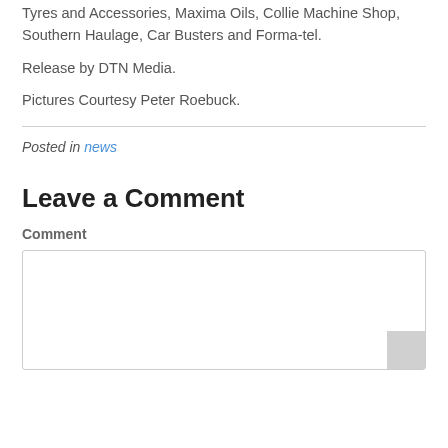Tyres and Accessories, Maxima Oils, Collie Machine Shop, Southern Haulage, Car Busters and Forma-tel.
Release by DTN Media.
Pictures Courtesy Peter Roebuck.
Posted in news
Leave a Comment
Comment